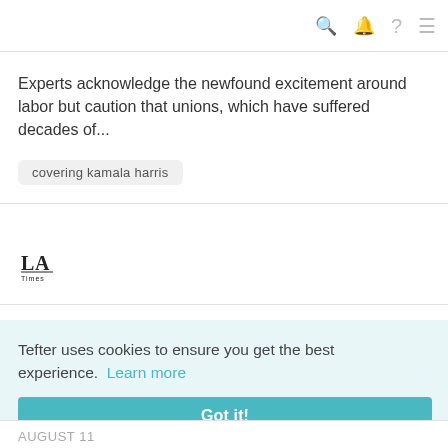Navigation bar with search, bell, question mark, and menu icons
Experts acknowledge the newfound excitement around labor but caution that unions, which have suffered decades of...
covering kamala harris
[Figure (logo): LA Times logo - stylized 'LA' letters with 'Times' text below]
Tefter uses cookies to ensure you get the best experience. Learn more
Got it!
August 11